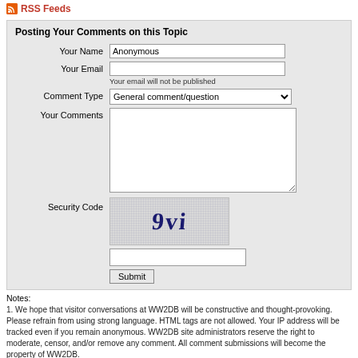RSS Feeds
Posting Your Comments on this Topic
[Figure (screenshot): Web form for posting comments with fields: Your Name (filled with 'Anonymous'), Your Email (empty), Comment Type (dropdown: 'General comment/question'), Your Comments (textarea), Security Code (CAPTCHA image showing '9vi'), security code input field, and Submit button.]
Notes:
1. We hope that visitor conversations at WW2DB will be constructive and thought-provoking. Please refrain from using strong language. HTML tags are not allowed. Your IP address will be tracked even if you remain anonymous. WW2DB site administrators reserve the right to moderate, censor, and/or remove any comment. All comment submissions will become the property of WW2DB.
2. For inquiries about military records for members of the World War II armed forces, please see our FAQ.